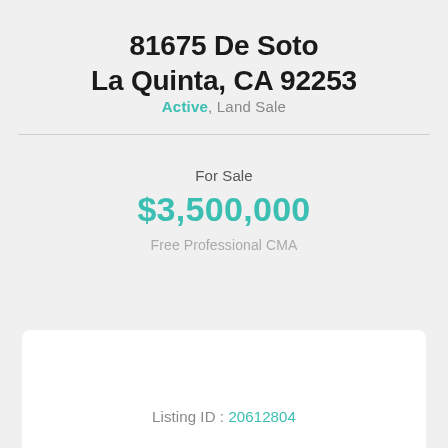81675 De Soto La Quinta, CA 92253
Active, Land Sale
For Sale
$3,500,000
Free Professional CMA
Listing ID : 20612804